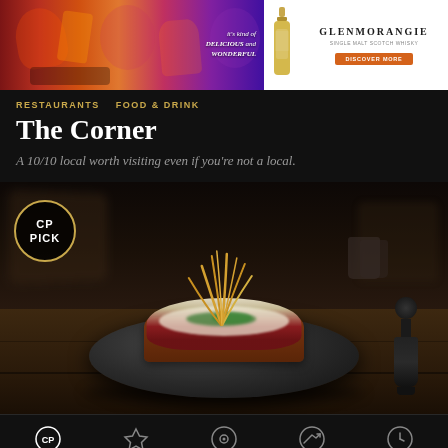[Figure (photo): Glenmorangie whisky advertisement banner with warm orange and purple tones, featuring the tagline 'it's kind of delicious and wonderful' and a bottle of Glenmorangie whisky on white background]
RESTAURANTS  FOOD & DRINK
The Corner
A 10/10 local worth visiting even if you're not a local.
[Figure (photo): Restaurant food photo showing a gourmet dish with crispy fried shallots on top of a slaw and meat base, served in a dark grey plate on a wooden table. A CP PICK badge is overlaid on the left. A pepper grinder is visible in background.]
Home  Featured  Nearby  Popular  Latest